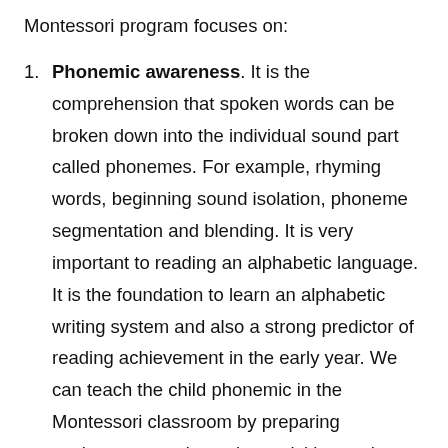Montessori program focuses on:
Phonemic awareness. It is the comprehension that spoken words can be broken down into the individual sound part called phonemes. For example, rhyming words, beginning sound isolation, phoneme segmentation and blending. It is very important to reading an alphabetic language. It is the foundation to learn an alphabetic writing system and also a strong predictor of reading achievement in the early year. We can teach the child phonemic in the Montessori classroom by preparing environment and creating activities such as rhyming, beginning sound isolation,